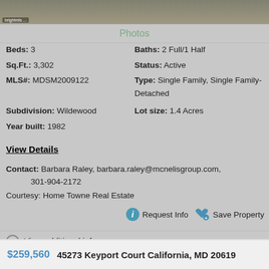[Figure (photo): Partial view of a property exterior photo, showing ground/gravel area at the top of the listing card. A 'brightmls' watermark badge is visible in the lower left of the image.]
Photos
Beds: 3
Baths: 2 Full/1 Half
Sq.Ft.: 3,302
Status: Active
MLS#: MDSM2009122
Type: Single Family, Single Family-Detached
Subdivision: Wildewood
Lot size: 1.4 Acres
Year built: 1982
View Details
Contact: Barbara Raley, barbara.raley@mcnelisgroup.com, 301-904-2172
Courtesy: Home Towne Real Estate
Request Info  Save Property
View additional info
$259,560  45273 Keyport Court California, MD 20619